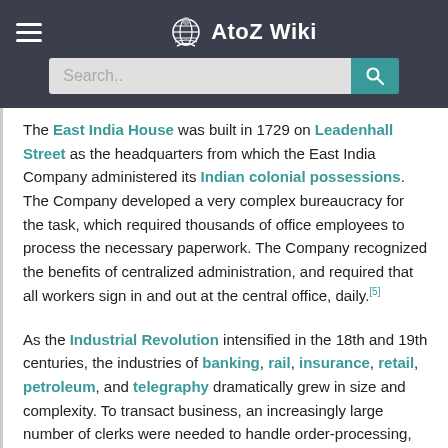AtoZ Wiki
The East India House was built in 1729 on Leadenhall Street as the headquarters from which the East India Company administered its Indian colonial possessions. The Company developed a very complex bureaucracy for the task, which required thousands of office employees to process the necessary paperwork. The Company recognized the benefits of centralized administration, and required that all workers sign in and out at the central office, daily.[5]
As the Industrial Revolution intensified in the 18th and 19th centuries, the industries of banking, rail, insurance, retail, petroleum, and telegraphy dramatically grew in size and complexity. To transact business, an increasingly large number of clerks were needed to handle order-processing, accounting, and document filing, with increasingly specialized office space required to house these activities. Most of the desks of the era